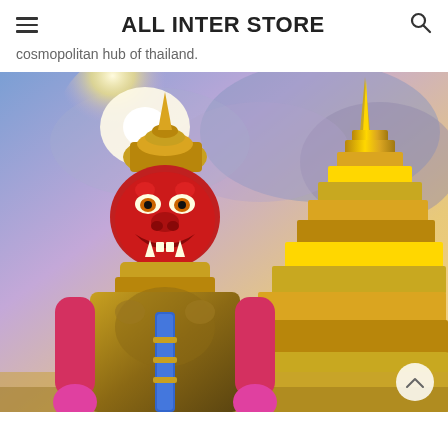ALL INTER STORE
cosmopolitan hub of thailand.
[Figure (photo): A large Thai demon guardian statue (Yaksha) with a red fierce face, gold ornate armor, and pink arms, holding a staff, positioned in front of a tall golden stupa/chedi at Wat Pho or Wat Phra Kaew in Bangkok. The sky is dramatic with purple and blue clouds and a bright sun flare in the upper left.]